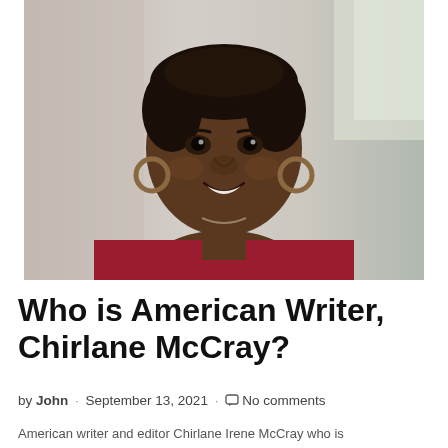[Figure (photo): Portrait photo of Chirlane McCray, a Black woman smiling, wearing a red blazer and hoop earrings, photographed indoors against a light background.]
Who is American Writer, Chirlane McCray?
by John · September 13, 2021 · No comments
American writer and editor Chirlane Irene McCray who is